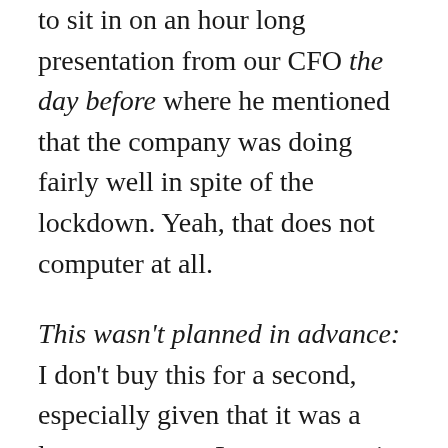to sit in on an hour long presentation from our CFO the day before where he mentioned that the company was doing fairly well in spite of the lockdown. Yeah, that does not computer at all.
This wasn't planned in advance: I don't buy this for a second, especially given that it was a large company. Large companies never do anything quickly. It had been a month and a half since the office closure, and I wonder if there was some threshold they were waiting to hit. Even if that statement was true, a company that just drops people at the drop of a hat isn't the kind of